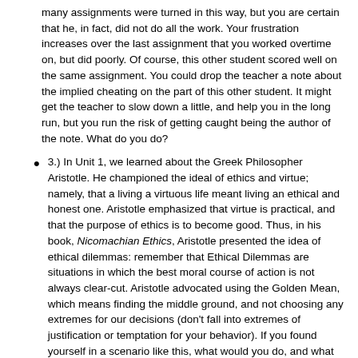many assignments were turned in this way, but you are certain that he, in fact, did not do all the work. Your frustration increases over the last assignment that you worked overtime on, but did poorly. Of course, this other student scored well on the same assignment. You could drop the teacher a note about the implied cheating on the part of this other student. It might get the teacher to slow down a little, and help you in the long run, but you run the risk of getting caught being the author of the note. What do you do?
3.) In Unit 1, we learned about the Greek Philosopher Aristotle. He championed the ideal of ethics and virtue; namely, that a living a virtuous life meant living an ethical and honest one. Aristotle emphasized that virtue is practical, and that the purpose of ethics is to become good. Thus, in his book, Nicomachian Ethics, Aristotle presented the idea of ethical dilemmas: remember that Ethical Dilemmas are situations in which the best moral course of action is not always clear-cut. Aristotle advocated using the Golden Mean, which means finding the middle ground, and not choosing any extremes for our decisions (don't fall into extremes of justification or temptation for your behavior). If you found yourself in a scenario like this, what would you do, and what do you think Aristotle would advise you to do? Would your actions align with Aristotle's advice?
You have a major research paper due in a few days for your English class. If you don't do well in this class, your financial aid will be compromised—you can not afford